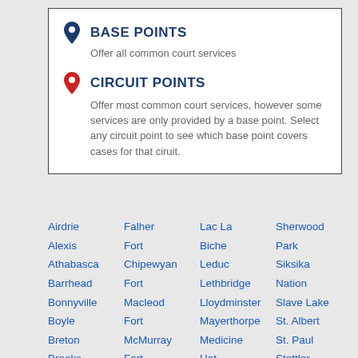BASE POINTS
Offer all common court services
CIRCUIT POINTS
Offer most common court services, however some services are only provided by a base point. Select any circuit point to see which base point covers cases for that ciruit.
Airdrie
Alexis
Athabasca
Barrhead
Bonnyville
Boyle
Breton
Brooks
Calgary
Camrose
Falher
Fort Chipewyan
Fort Macleod
Fort McMurray
Fort Saskatchewan
Fort
Lac La Biche
Leduc
Lethbridge
Lloydminster
Mayerthorpe
Medicine Hat
Morinville
Okotoks
Sherwood Park
Siksika Nation
Slave Lake
St. Albert
St. Paul
Stettler
Stony Plain
Strathmore